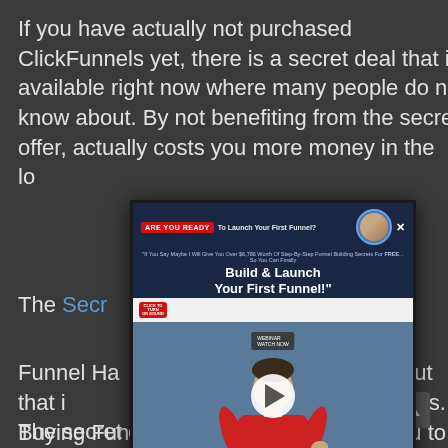If you have actually not purchased ClickFunnels yet, there is a secret deal that is available right now where many people do not know about. By not benefiting from the secret offer, actually costs you more money in the lo...
The Secr... ...ecret.
[Figure (screenshot): A popup video player overlay for 'Are You Ready To Launch Your First Funnel?' with a 'Build & Launch Your First Funnel!' banner, a person in a red shirt, play button, and sound toggle.]
Funnel Ha... ...or price cut that i... ...sers. The secret offer allows you to get extraordinary rewards and aids you to succeed even quicker with ClickFunnels if you apply them.
Buying Funnel Hacks Secret will help you to save on your ClickFunnels membership fee...